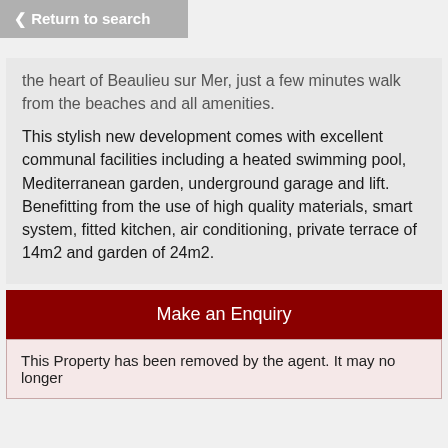< Return to search
the heart of Beaulieu sur Mer, just a few minutes walk from the beaches and all amenities.

This stylish new development comes with excellent communal facilities including a heated swimming pool, Mediterranean garden, underground garage and lift.
Benefitting from the use of high quality materials, smart system, fitted kitchen, air conditioning, private terrace of 14m2 and garden of 24m2.
Make an Enquiry
This Property has been removed by the agent. It may no longer